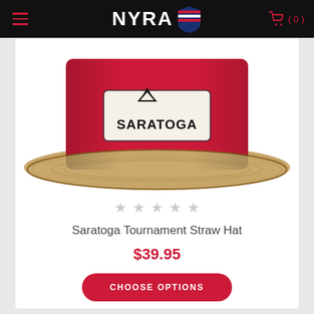NYRA (0)
[Figure (photo): Saratoga Tournament Straw Hat — a wide-brim natural straw hat with a red crown band bearing the Saratoga logo patch, viewed from the front on a white background.]
★ ★ ★ ★ ★ (empty stars / no reviews)
Saratoga Tournament Straw Hat
$39.95
CHOOSE OPTIONS